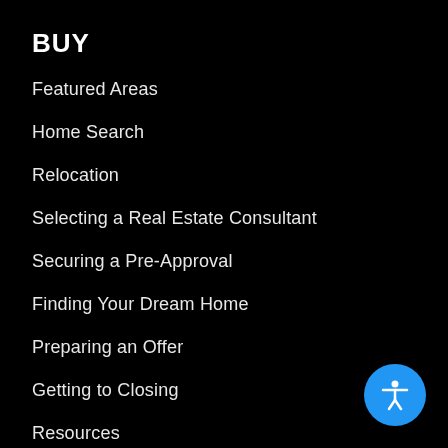BUY
Featured Areas
Home Search
Relocation
Selecting a Real Estate Consultant
Securing a Pre-Approval
Finding Your Dream Home
Preparing an Offer
Getting to Closing
Resources
SELL
Selecting a Real Estate Consultant
Preparing the Property